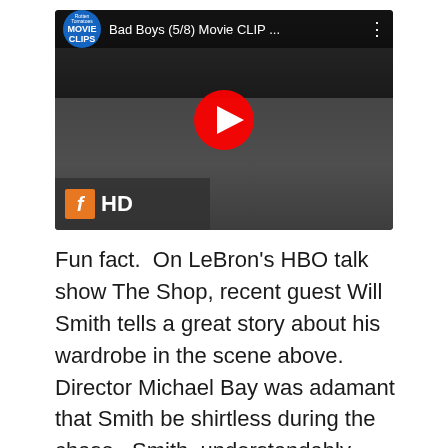[Figure (screenshot): YouTube video thumbnail for 'Bad Boys (5/8) Movie CLIP ...' showing a man in a dark scene. The video player shows the Rotten Tomatoes Movie Clips channel logo, the video title, a red YouTube play button in the center, and an FHD badge in the bottom-left corner.]
Fun fact.  On LeBron's HBO talk show The Shop, recent guest Will Smith tells a great story about his wardrobe in the scene above.  Director Michael Bay was adamant that Smith be shirtless during the chase.  Smith, understandably, thought that was absolutely ridiculous and felt it made more sense to, you